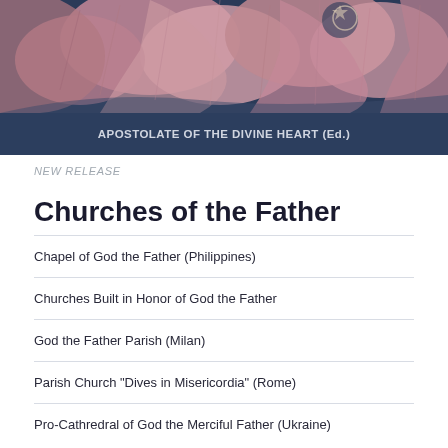[Figure (illustration): Byzantine-style mosaic artwork depicting figures in pink/rose tones against a dark blue background, showing what appears to be religious iconography]
APOSTOLATE OF THE DIVINE HEART (Ed.)
NEW RELEASE
Churches of the Father
Chapel of God the Father (Philippines)
Churches Built in Honor of God the Father
God the Father Parish (Milan)
Parish Church "Dives in Misericordia" (Rome)
Pro-Cathredral of God the Merciful Father (Ukraine)